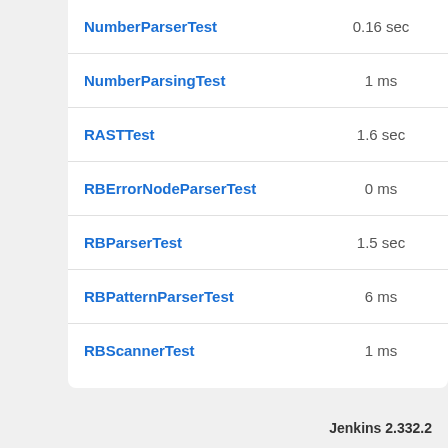| Name | Duration | Failures | Errors |
| --- | --- | --- | --- |
| NumberParserTest | 0.16 sec | 0 | 0 |
| NumberParsingTest | 1 ms | 0 | 0 |
| RASTTest | 1.6 sec | 0 | 0 |
| RBErrorNodeParserTest | 0 ms | 0 | 0 |
| RBParserTest | 1.5 sec | 0 | 0 |
| RBPatternParserTest | 6 ms | 0 | 0 |
| RBScannerTest | 1 ms | 0 | 0 |
Jenkins 2.332.2